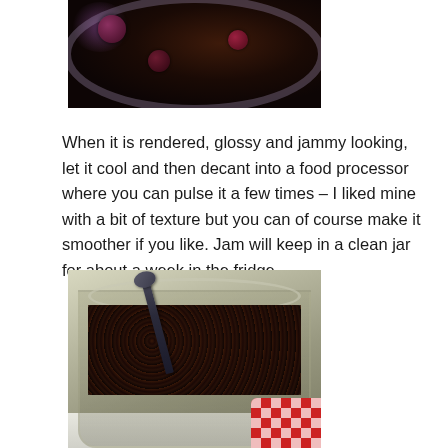[Figure (photo): Top-down view of dark, glossy jam with berries in a bowl, showing rendered and jammy texture]
When it is rendered, glossy and jammy looking, let it cool and then decant into a food processor where you can pulse it a few times – I liked mine with a bit of texture but you can of course make it smoother if you like. Jam will keep in a clean jar for about a week in the fridge.
[Figure (photo): A glass jar filled with dark chunky jam, a spoon inserted into it, with a red and white checkered lid visible in the bottom right corner, placed on a white plate]